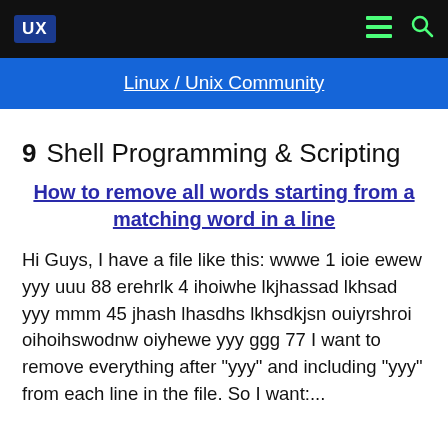UX  Linux / Unix Community
9  Shell Programming & Scripting
How to remove all words starting from a matching word in a line
Hi Guys, I have a file like this: wwwe 1 ioie ewew yyy uuu 88 erehrlk 4 ihoiwhe lkjhassad lkhsad yyy mmm 45 jhash lhasdhs lkhsdkjsn ouiyrshroi oihoihswodnw oiyhewe yyy ggg 77 I want to remove everything after "yyy" and including "yyy" from each line in the file. So I want:...